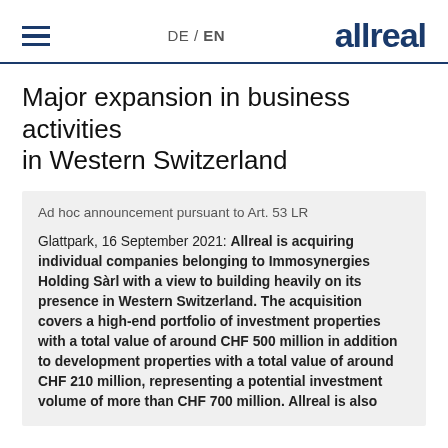DE / EN  allreal
Major expansion in business activities in Western Switzerland
Ad hoc announcement pursuant to Art. 53 LR
Glattpark, 16 September 2021: Allreal is acquiring individual companies belonging to Immosynergies Holding Sàrl with a view to building heavily on its presence in Western Switzerland. The acquisition covers a high-end portfolio of investment properties with a total value of around CHF 500 million in addition to development properties with a total value of around CHF 210 million, representing a potential investment volume of more than CHF 700 million. Allreal is also